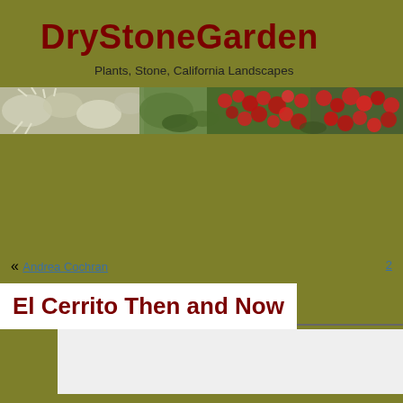DryStoneGarden
Plants, Stone, California Landscapes
[Figure (photo): Horizontal banner photo of garden plants including silvery-white foliage and red flowering plants against a green background]
« Andrea Cochran
El Cerrito Then and Now